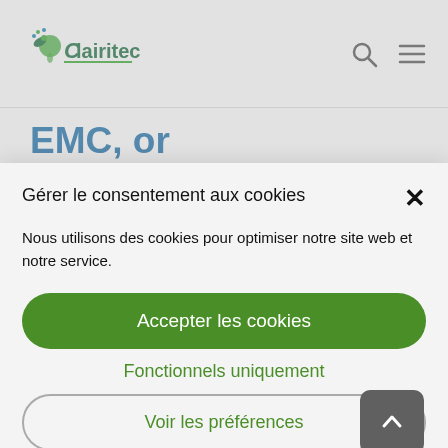Clairitec
EMC, or electromagnetic compatibility, is a critical issue
Gérer le consentement aux cookies
Nous utilisons des cookies pour optimiser notre site web et notre service.
Accepter les cookies
Fonctionnels uniquement
Voir les préférences